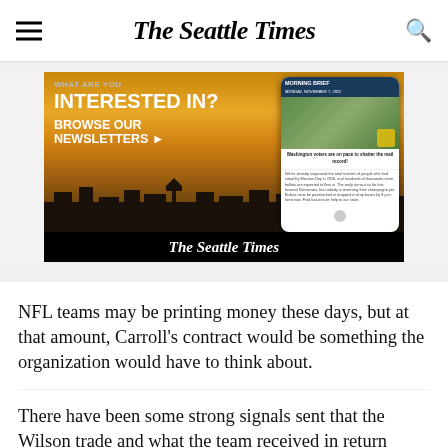The Seattle Times
[Figure (advertisement): Seattle Times newsletter advertisement showing Seattle skyline at sunset with Space Needle, text 'INTERESTED IN? BROWSE OUR NEWSLETTERS' on left, and a phone mockup showing Morning Brief newsletter on right. Bottom bar shows The Seattle Times logo in white on black.]
NFL teams may be printing money these days, but at that amount, Carroll's contract would be something the organization would have to think about.
There have been some strong signals sent that the Wilson trade and what the team received in return